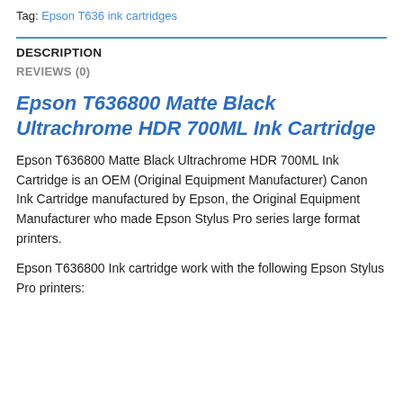Tag: Epson T636 ink cartridges
DESCRIPTION
REVIEWS (0)
Epson T636800 Matte Black Ultrachrome HDR 700ML Ink Cartridge
Epson T636800 Matte Black Ultrachrome HDR 700ML Ink Cartridge is an OEM (Original Equipment Manufacturer) Canon Ink Cartridge manufactured by Epson, the Original Equipment Manufacturer who made Epson Stylus Pro series large format printers.
Epson T636800 Ink cartridge work with the following Epson Stylus Pro printers: